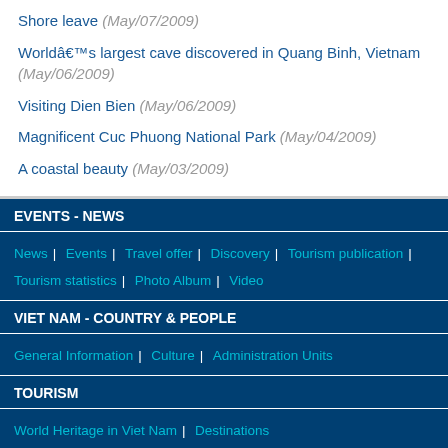Shore leave (May/07/2009)
Worldâ€™s largest cave discovered in Quang Binh, Vietnam (May/06/2009)
Visiting Dien Bien (May/06/2009)
Magnificent Cuc Phuong National Park (May/04/2009)
A coastal beauty (May/03/2009)
EVENTS - NEWS
News | Events | Travel offer | Discovery | Tourism publication | Tourism statistics | Photo Album | Video
VIET NAM - COUNTRY & PEOPLE
General Information | Culture | Administration Units
TOURISM
World Heritage in Viet Nam | Destinations
TOURIST SERVICES